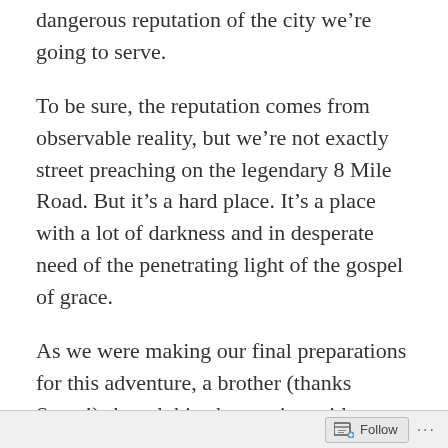dangerous reputation of the city we’re going to serve.
To be sure, the reputation comes from observable reality, but we’re not exactly street preaching on the legendary 8 Mile Road. But it’s a hard place. It’s a place with a lot of darkness and in desperate need of the penetrating light of the gospel of grace.
As we were making our final preparations for this adventure, a brother (thanks Steve!) shared this observation with me that has developed into this post.
He reminded me of one of my favorite
Follow ···